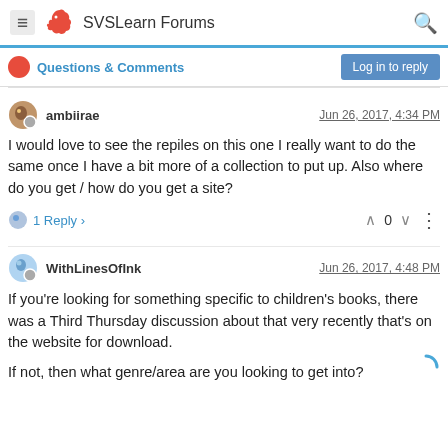SVSLearn Forums
Questions & Comments
ambiirae  Jun 26, 2017, 4:34 PM
I would love to see the repiles on this one I really want to do the same once I have a bit more of a collection to put up. Also where do you get / how do you get a site?
1 Reply >  0
WithLinesOfInk  Jun 26, 2017, 4:48 PM
If you're looking for something specific to children's books, there was a Third Thursday discussion about that very recently that's on the website for download.

If not, then what genre/area are you looking to get into?